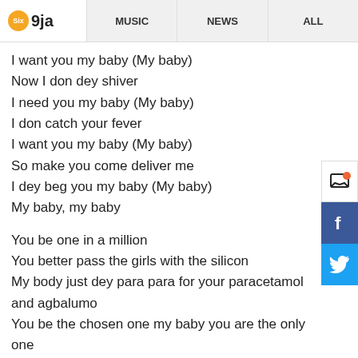Six 9ja | MUSIC | NEWS | ALL
I want you my baby (My baby)
Now I don dey shiver
I need you my baby (My baby)
I don catch your fever
I want you my baby (My baby)
So make you come deliver me
I dey beg you my baby (My baby)
My baby, my baby
You be one in a million
You better pass the girls with the silicon
My body just dey para para for your paracetamol and agbalumo
You be the chosen one my baby you are the only one
You gat me going crazy oh ye ye ye (Ye ye ye)
My doctor tell me say my temperature dey fail
He write prescription say na u go cure my case oh